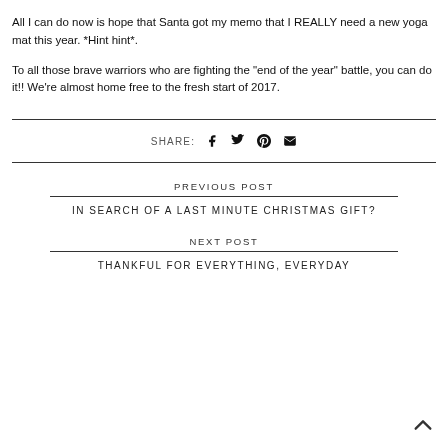All I can do now is hope that Santa got my memo that I REALLY need a new yoga mat this year. *Hint hint*.
To all those brave warriors who are fighting the "end of the year" battle, you can do it!! We're almost home free to the fresh start of 2017.
SHARE: [facebook] [twitter] [pinterest] [email]
PREVIOUS POST
IN SEARCH OF A LAST MINUTE CHRISTMAS GIFT?
NEXT POST
THANKFUL FOR EVERYTHING, EVERYDAY